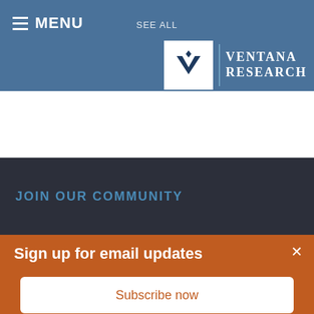MENU   SEE ALL
[Figure (logo): Ventana Research logo — white V icon in white box with 'VENTANA RESEARCH' text in white on blue background]
JOIN OUR COMMUNITY
Sign up for email updates
Stay up-to-date. Get instant notifications when Robert posts a new analyst perspective.
Subscribe now